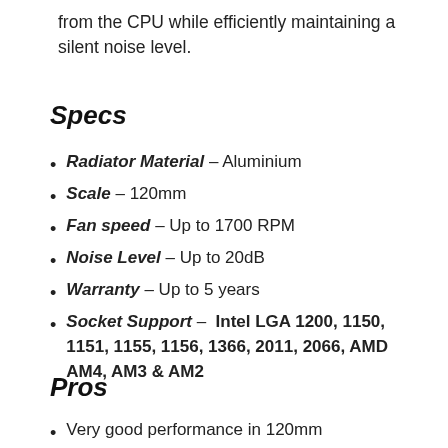from the CPU while efficiently maintaining a silent noise level.
Specs
Radiator Material – Aluminium
Scale – 120mm
Fan speed – Up to 1700 RPM
Noise Level – Up to 20dB
Warranty – Up to 5 years
Socket Support – Intel LGA 1200, 1150, 1151, 1155, 1156, 1366, 2011, 2066, AMD AM4, AM3 & AM2
Pros
Very good performance in 120mm